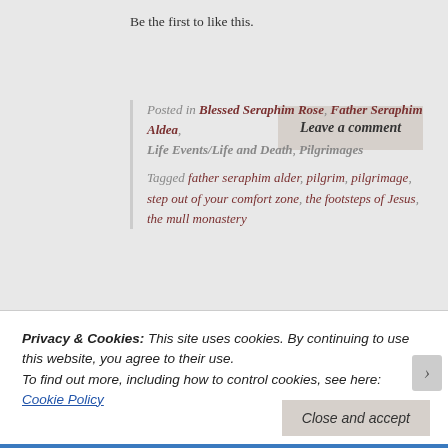Be the first to like this.
Posted in Blessed Seraphim Rose, Father Seraphim Aldea, Life Events/Life and Death, Pilgrimages
Tagged father seraphim alder, pilgrim, pilgrimage, step out of your comfort zone, the footsteps of Jesus, the mull monastery
Leave a comment
Privacy & Cookies: This site uses cookies. By continuing to use this website, you agree to their use.
To find out more, including how to control cookies, see here: Cookie Policy
Close and accept